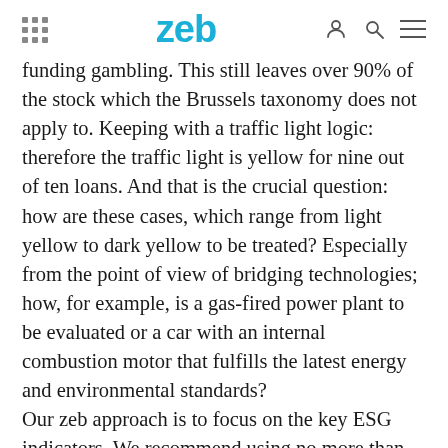zeb
funding gambling. This still leaves over 90% of the stock which the Brussels taxonomy does not apply to. Keeping with a traffic light logic: therefore the traffic light is yellow for nine out of ten loans. And that is the crucial question: how are these cases, which range from light yellow to dark yellow to be treated? Especially from the point of view of bridging technologies; how, for example, is a gas-fired power plant to be evaluated or a car with an internal combustion motor that fulfills the latest energy and environmental standards? Our zeb approach is to focus on the key ESG indicators. We recommend using no more than ten indicators – depending on the business, preferably